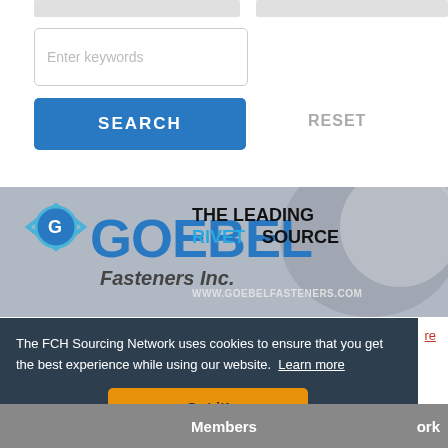[Figure (screenshot): Search input field with placeholder text 'Enter keywords', a blue SEARCH button, and a gray RESET button]
[Figure (photo): Goebel Fasteners Inc banner ad showing company logo and text 'THE LEADING RIVET SOURCE' with website www.goebelfasteners.com]
The FCH Sourcing Network uses cookies to ensure that you get the best experience while using our website. Learn more
Got it!
Members